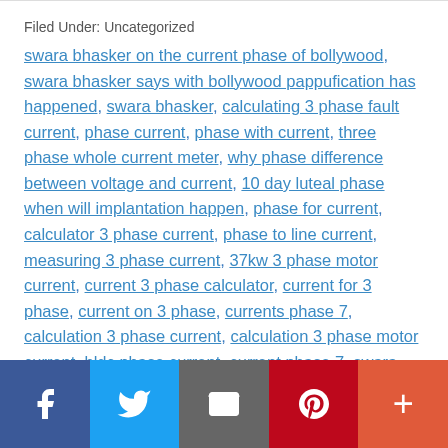Filed Under: Uncategorized
swara bhasker on the current phase of bollywood, swara bhasker says with bollywood pappufication has happened, swara bhasker, calculating 3 phase fault current, phase current, phase with current, three phase whole current meter, why phase difference between voltage and current, 10 day luteal phase when will implantation happen, phase for current, calculator 3 phase current, phase to line current, measuring 3 phase current, 37kw 3 phase motor current, current 3 phase calculator, current for 3 phase, current on 3 phase, currents phase 7, calculation 3 phase current, calculation 3 phase motor current, bldc phase current, current phase 7, swara bhasker quotes
[Figure (other): Social sharing bar with Facebook, Twitter, Email, Pinterest, and plus buttons]